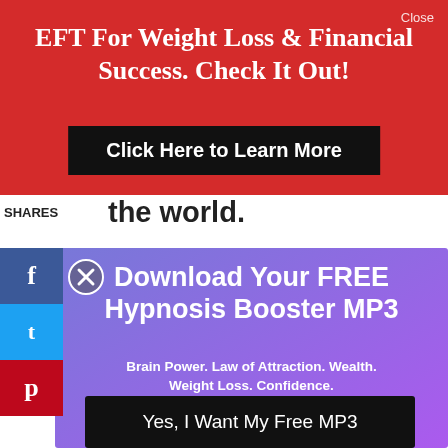Close
EFT For Weight Loss & Financial Success. Check It Out!
Click Here to Learn More
SHARES
the world.
f
t
p
Download Your FREE Hypnosis Booster MP3
Brain Power. Law of Attraction. Wealth. Weight Loss. Confidence.
Yes, I Want My Free MP3